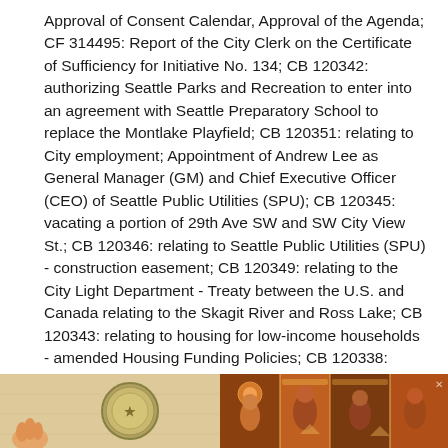Approval of Consent Calendar, Approval of the Agenda; CF 314495: Report of the City Clerk on the Certificate of Sufficiency for Initiative No. 134; CB 120342: authorizing Seattle Parks and Recreation to enter into an agreement with Seattle Preparatory School to replace the Montlake Playfield; CB 120351: relating to City employment; Appointment of Andrew Lee as General Manager (GM) and Chief Executive Officer (CEO) of Seattle Public Utilities (SPU); CB 120345: vacating a portion of 29th Ave SW and SW City View St.; CB 120346: relating to Seattle Public Utilities (SPU) - construction easement; CB 120349: relating to the City Light Department - Treaty between the U.S. and Canada relating to the Skagit River and Ross Lake; CB 120343: relating to housing for low-income households - amended Housing Funding Policies; CB 120338: relating to grant funds from non-City sources; CB 120340: relating to the Department of Finance and Administrative Services (FAS) - real property lease with Washington State Department of Transportation (WSDOT); Items removed from consent calendar; adoption of other resolutions; other business.
[Figure (photo): Bottom strip showing two image panels: left panel with a coin/medallion and decorative background on light tan, right panel with colorful abstract/ethnic artwork in warm orange-brown tones. Green and red notification dots visible top-left.]